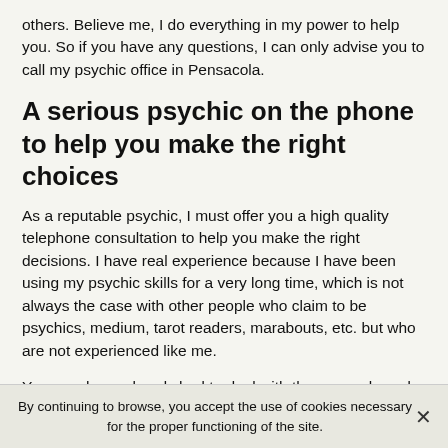others. Believe me, I do everything in my power to help you. So if you have any questions, I can only advise you to call my psychic office in Pensacola.
A serious psychic on the phone to help you make the right choices
As a reputable psychic, I must offer you a high quality telephone consultation to help you make the right decisions. I have real experience because I have been using my psychic skills for a very long time, which is not always the case with other people who claim to be psychics, medium, tarot readers, marabouts, etc. but who are not experienced like me.
You may have already had to deal with these people and you were very disappointed by the answers and
By continuing to browse, you accept the use of cookies necessary for the proper functioning of the site.